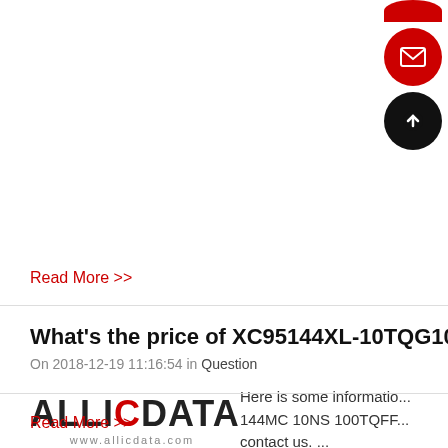Read More >>
[Figure (illustration): Red circle with white envelope/mail icon (floating button)]
[Figure (illustration): Black circle with white upward arrow icon (back to top button)]
What's the price of XC95144XL-10TQG100C IC CP...
On 2018-12-19 11:16:54 in Question
[Figure (logo): AllICData logo with red C and www.allicdata.com URL]
Here is some information... 144MC 10NS 100TQFF... contact us. ...
Read More >>